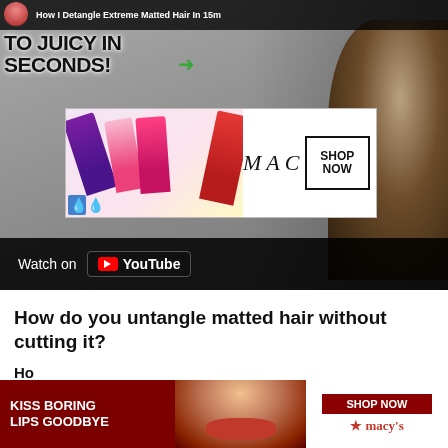[Figure (screenshot): YouTube video thumbnail: 'How I Detangle Extreme Matted Hair In 15m' with text overlay 'TO JUICY IN SECONDS!' and a MAC cosmetics advertisement banner overlaid on the video. Watch on YouTube bar at bottom.]
[Figure (screenshot): MAC Cosmetics advertisement banner showing multiple lipsticks and 'MAC' logo with 'SHOP NOW' button]
How do you untangle matted hair without cutting it?
Ho... ho...
[Figure (screenshot): Macy's advertisement: 'KISS BORING LIPS GOODBYE' with woman's face and red lips, SHOP NOW button and Macy's star logo. CLOSE button visible.]